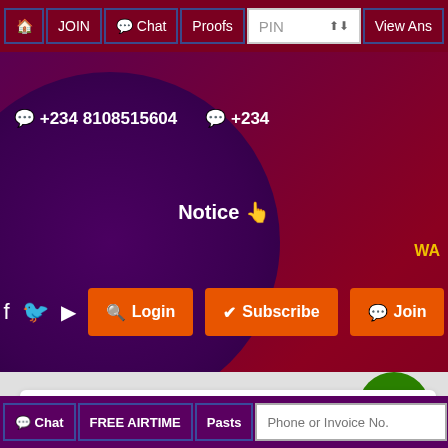🏠 JOIN 💬 Chat Proofs PIN View Ans
💬 +234 8108515604   💬 +234
Notice 👆
WA
[Figure (screenshot): Social media icons (Facebook, Twitter, YouTube) and three orange buttons: Login, Subscribe, Join]
Dick maduabuchi Says: They are 100% real
💬 Chat  FREE AIRTIME  Pasts  Phone or Invoice No.  Verify